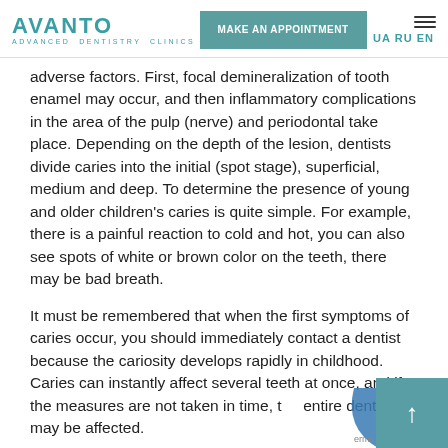AVANTO ADVANCED DENTISTRY CLINICS | MAKE AN APPOINTMENT | UA RU EN
adverse factors. First, focal demineralization of tooth enamel may occur, and then inflammatory complications in the area of the pulp (nerve) and periodontal take place. Depending on the depth of the lesion, dentists divide caries into the initial (spot stage), superficial, medium and deep. To determine the presence of young and older children's caries is quite simple. For example, there is a painful reaction to cold and hot, you can also see spots of white or brown color on the teeth, there may be bad breath.
It must be remembered that when the first symptoms of caries occur, you should immediately contact a dentist because the cariosity develops rapidly in childhood. Caries can instantly affect several teeth at once, and if the measures are not taken in time, the entire dentition may be affected.